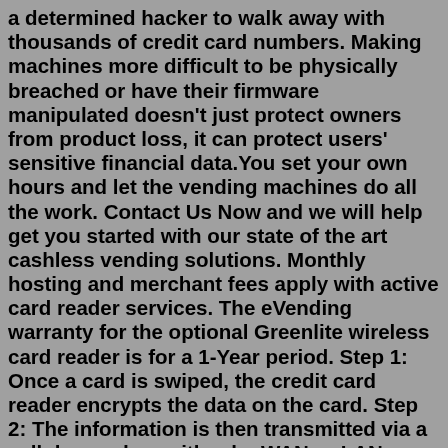a determined hacker to walk away with thousands of credit card numbers. Making machines more difficult to be physically breached or have their firmware manipulated doesn't just protect owners from product loss, it can protect users' sensitive financial data.You set your own hours and let the vending machines do all the work. Contact Us Now and we will help get you started with our state of the art cashless vending solutions. Monthly hosting and merchant fees apply with active card reader services. The eVending warranty for the optional Greenlite wireless card reader is for a 1-Year period. Step 1: Once a card is swiped, the credit card reader encrypts the data on the card. Step 2: The information is then transmitted via a cellular modem, either by WAN or LAN connection. Step 3: The information is sent to a payment gateway, where it is captured and sent to a credit card processor. Step 4: The data is processed and sent back to the ...Fully integrated controller with sales and accounting features. Buy on Amazon. 4. Selectivend DZ5 40-205 Snack and Beverage Vendin